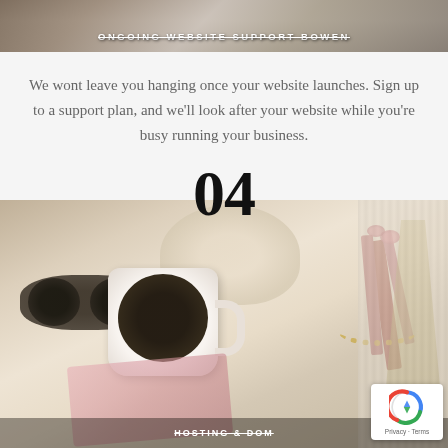[Figure (photo): Top portion of a photo showing a laptop/desk scene with text overlay 'ONGOING WEBSITE SUPPORT BOWEN' in uppercase white bold letters with strikethrough styling]
We wont leave you hanging once your website launches. Sign up to a support plan, and we'll look after your website while you're busy running your business.
04
[Figure (photo): Lifestyle flat lay photo showing sunglasses, a white coffee cup with black coffee, a beige hat, dried pink flowers/wheat, a beaded necklace, and a pink textured cloth on a light background. Bottom overlay text reads 'HOSTING & DOM...' partially visible.]